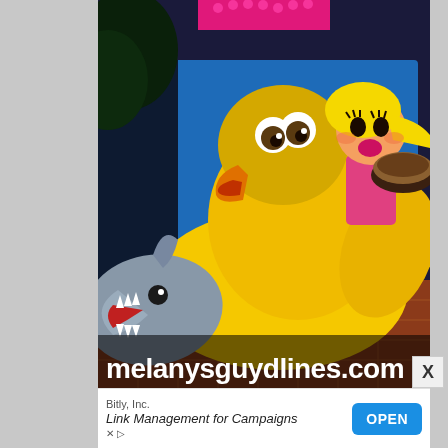[Figure (photo): Photo of a large inflatable yellow rubber duck toy near a pool, with a cartoon blonde girl character riding it, a cartoon shark head on the left, and food on the right. Text overlay at bottom reads 'melanysguydlines.com' in white bold font on a semi-transparent dark background.]
X
Bitly, Inc.
Link Management for Campaigns
OPEN